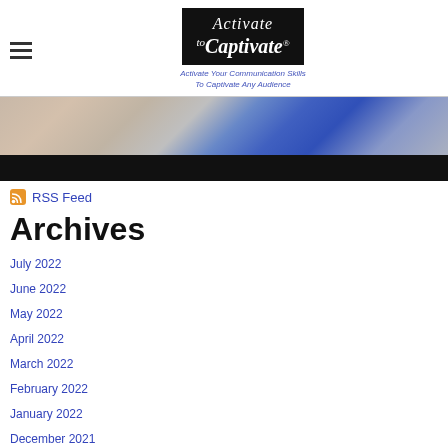Activate to Captivate – Activate Your Communication Skills To Captivate Any Audience
[Figure (photo): Partial photo of a person with long blonde hair wearing a blue vest, bottom portion cropped with black bar]
RSS Feed
Archives
July 2022
June 2022
May 2022
April 2022
March 2022
February 2022
January 2022
December 2021
November 2021
October 2021